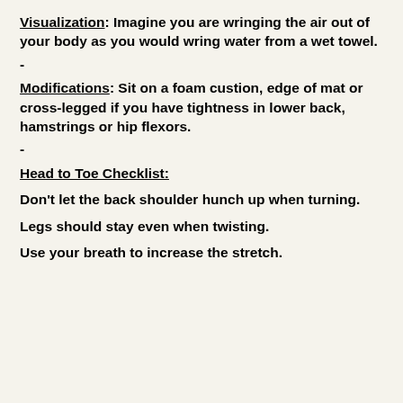Visualization: Imagine you are wringing the air out of your body as you would wring water from a wet towel.
-
Modifications: Sit on a foam custion, edge of mat or cross-legged if you have tightness in lower back, hamstrings or hip flexors.
-
Head to Toe Checklist:
Don't let the back shoulder hunch up when turning.
Legs should stay even when twisting.
Use your breath to increase the stretch.